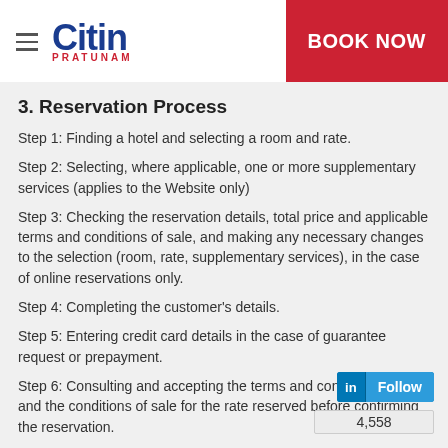Citin Pratunam — BOOK NOW
3. Reservation Process
Step 1: Finding a hotel and selecting a room and rate.
Step 2: Selecting, where applicable, one or more supplementary services (applies to the Website only)
Step 3: Checking the reservation details, total price and applicable terms and conditions of sale, and making any necessary changes to the selection (room, rate, supplementary services), in the case of online reservations only.
Step 4: Completing the customer's details.
Step 5: Entering credit card details in the case of guarantee request or prepayment.
Step 6: Consulting and accepting the terms and conditions of sale and the conditions of sale for the rate reserved before confirming the reservation.
Step 7: Customer Reservation confir…